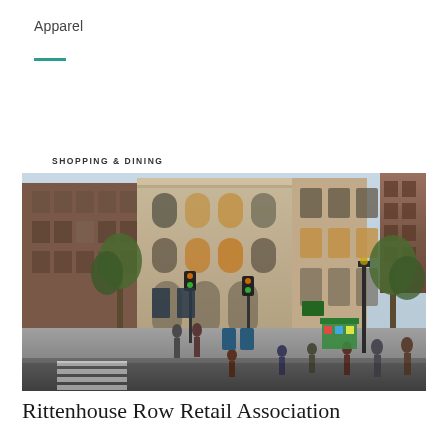Apparel
[Figure (photo): Street-level photo of a large ornate Beaux-Arts limestone corner building in Philadelphia's Rittenhouse Row shopping district. The building features arched windows, decorative stonework, and curved corner facade. The street scene shows pedestrians crossing at a crosswalk, traffic signals, street banners, trees, and city buildings in the background.]
SHOPPING & DINING
Rittenhouse Row Retail Association